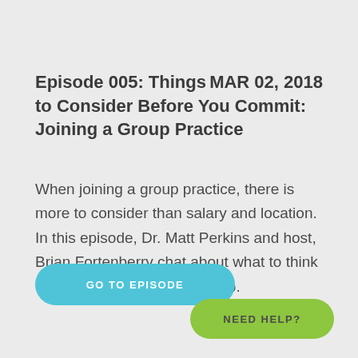Episode 005: Things to Consider Before You Commit: Joining a Group Practice    MAR 02, 2018
When joining a group practice, there is more to consider than salary and location. In this episode, Dr. Matt Perkins and host, Brian Fortenberry chat about what to think through before you partner up.
GO TO EPISODE
NEED HELP?